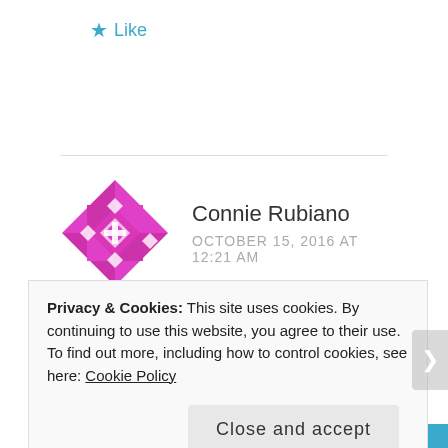★ Like
[Figure (illustration): Magenta/pink geometric mosaic avatar for Connie Rubiano]
Connie Rubiano
OCTOBER 15, 2016 AT 12:21 AM
Loved the piece for all its history and your place in it.
Privacy & Cookies: This site uses cookies. By continuing to use this website, you agree to their use.
To find out more, including how to control cookies, see here: Cookie Policy
Close and accept